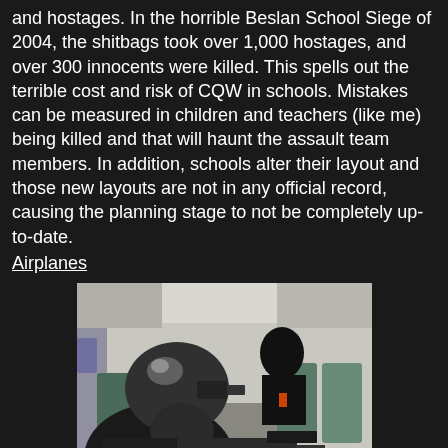and hostages. In the horrible Beslan School Siege of 2004, the shitbags took over 1,000 hostages, and over 300 innocents were killed. This spells out the terrible cost and risk of CQW in schools. Mistakes can be measured in children and teachers (like me) being killed and that will haunt the assault team members. In addition, schools alter their layout and those new layouts are not in any official record, causing the planning stage to not be completely up-to-date.
Airplanes
[Figure (photo): A tactical operator in full gear including black helmet and body armor, holding a weapon, moving down the aisle of a commercial airplane during what appears to be a counter-terrorism training exercise or operation. Aircraft seats are visible on the right side.]
One of the deadliest environments for CQW is one of the most common for counter-terrorism operations: the commercial airplane. Why? Airplanes are packed with a vast